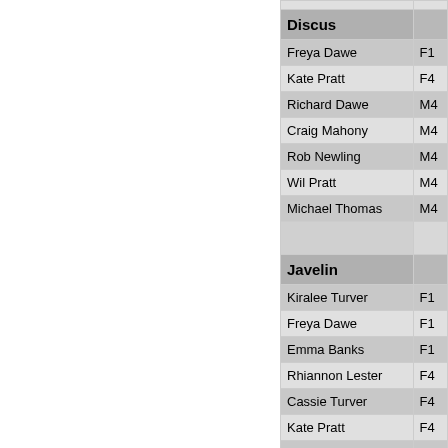| Name | Category |
| --- | --- |
| Discus |  |
| Freya Dawe | F1… |
| Kate Pratt | F4… |
| Richard Dawe | M4… |
| Craig Mahony | M4… |
| Rob Newling | M4… |
| Wil Pratt | M4… |
| Michael Thomas | M4… |
|  |  |
| Javelin |  |
| Kiralee Turver | F1… |
| Freya Dawe | F1… |
| Emma Banks | F1… |
| Rhiannon Lester | F4… |
| Cassie Turver | F4… |
| Kate Pratt | F4… |
| Merilyn Thompson | F4… |